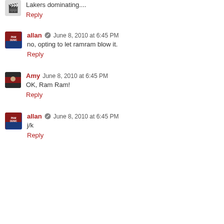Lakers dominating....
Reply
allan  June 8, 2010 at 6:45 PM
no, opting to let ramram blow it.
Reply
Amy  June 8, 2010 at 6:45 PM
OK, Ram Ram!
Reply
allan  June 8, 2010 at 6:45 PM
j/k
Reply